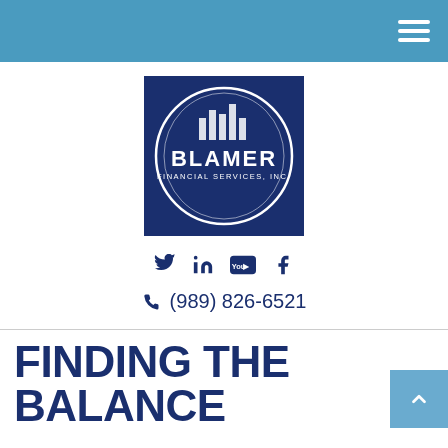Navigation header bar with hamburger menu
[Figure (logo): Blamer Financial Services, Inc. logo — dark navy blue square background with a white circle outline, bar chart icon at center top, text BLAMER in large white bold letters, FINANCIAL SERVICES, INC. below in smaller white text]
Twitter, LinkedIn, YouTube, Facebook social media icons
(989) 826-6521
FINDING THE BALANCE